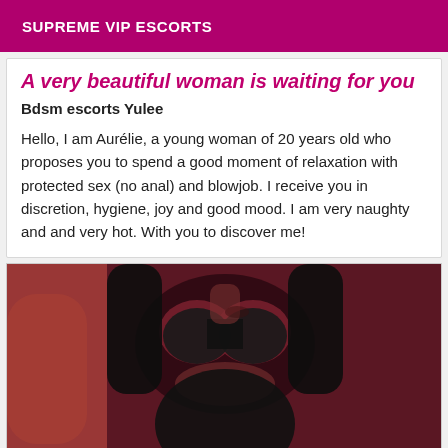SUPREME VIP ESCORTS
A very beautiful woman is waiting for you
Bdsm escorts Yulee
Hello, I am Aurélie, a young woman of 20 years old who proposes you to spend a good moment of relaxation with protected sex (no anal) and blowjob. I receive you in discretion, hygiene, joy and good mood. I am very naughty and and very hot. With you to discover me!
[Figure (photo): Photo of a woman in a black bikini top against a reddish-lit background]